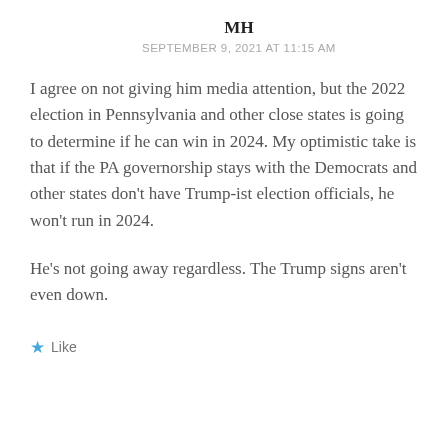MH
SEPTEMBER 9, 2021 AT 11:15 AM
I agree on not giving him media attention, but the 2022 election in Pennsylvania and other close states is going to determine if he can win in 2024. My optimistic take is that if the PA governorship stays with the Democrats and other states don't have Trump-ist election officials, he won't run in 2024.
He's not going away regardless. The Trump signs aren't even down.
Like